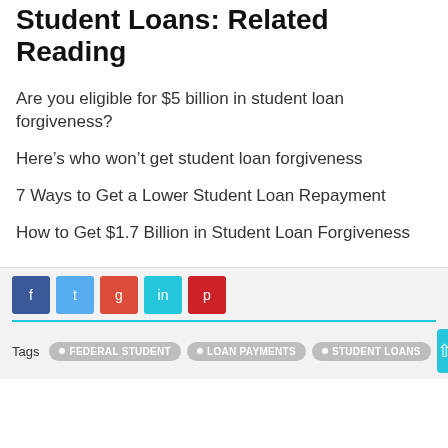Student Loans: Related Reading
Are you eligible for $5 billion in student loan forgiveness?
Here’s who won’t get student loan forgiveness
7 Ways to Get a Lower Student Loan Repayment
How to Get $1.7 Billion in Student Loan Forgiveness
Tags  FEDERAL STUDENT  LOAN PAYMENTS  STUDENT LOANS